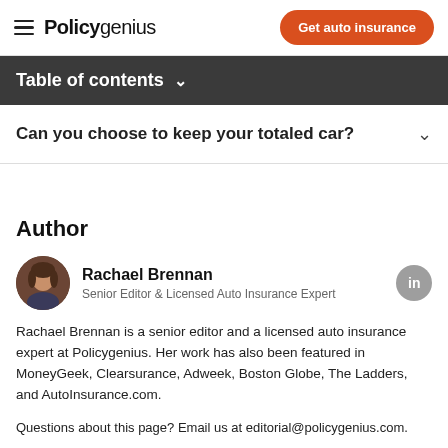Policygenius | Get auto insurance
Table of contents
Can you choose to keep your totaled car?
Author
Rachael Brennan
Senior Editor & Licensed Auto Insurance Expert
Rachael Brennan is a senior editor and a licensed auto insurance expert at Policygenius. Her work has also been featured in MoneyGeek, Clearsurance, Adweek, Boston Globe, The Ladders, and AutoInsurance.com.
Questions about this page? Email us at editorial@policygenius.com.